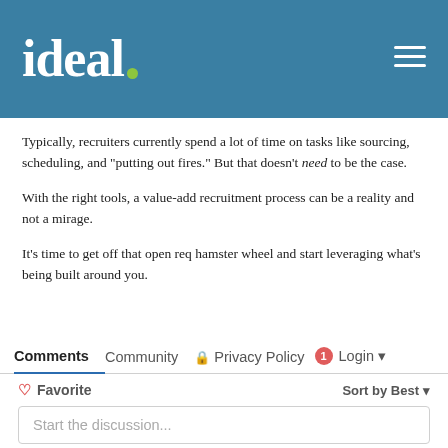[Figure (logo): ideal. logo with green dot on blue header bar with hamburger menu]
Typically, recruiters currently spend a lot of time on tasks like sourcing, scheduling, and "putting out fires." But that doesn't need to be the case.
With the right tools, a value-add recruitment process can be a reality and not a mirage.
It's time to get off that open req hamster wheel and start leveraging what's being built around you.
Comments   Community   Privacy Policy   1   Login ▾   ♡ Favorite   Sort by Best ▾   Start the discussion...